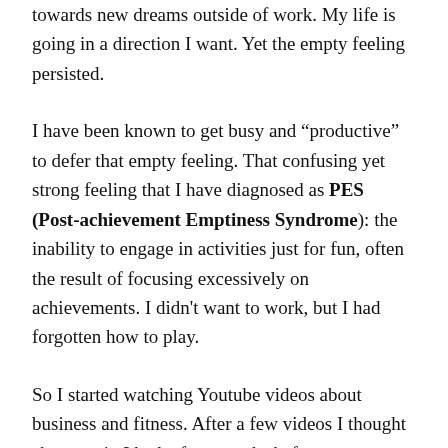towards new dreams outside of work. My life is going in a direction I want. Yet the empty feeling persisted.
I have been known to get busy and "productive" to defer that empty feeling. That confusing yet strong feeling that I have diagnosed as PES (Post-achievement Emptiness Syndrome): the inability to engage in activities just for fun, often the result of focusing excessively on achievements. I didn't want to work, but I had forgotten how to play.
So I started watching Youtube videos about business and fitness. After a few videos I thought about a trip I had a few months before...
My first trip to Spain reminded me of a forgotten attitude. The child's attitude. That mindset of